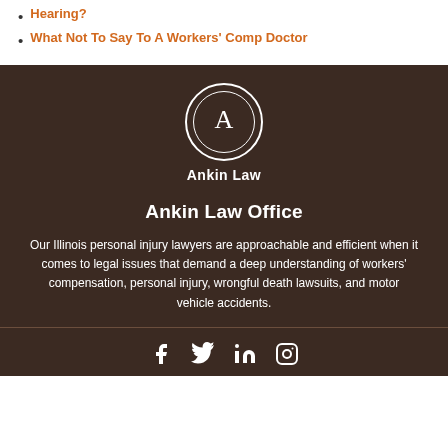Hearing?
What Not To Say To A Workers' Comp Doctor
[Figure (logo): Ankin Law circular logo with letter A inside double circle, white on dark brown background, with 'Ankin Law' text below]
Ankin Law Office
Our Illinois personal injury lawyers are approachable and efficient when it comes to legal issues that demand a deep understanding of workers' compensation, personal injury, wrongful death lawsuits, and motor vehicle accidents.
Social media icons: Facebook, Twitter, LinkedIn, Instagram